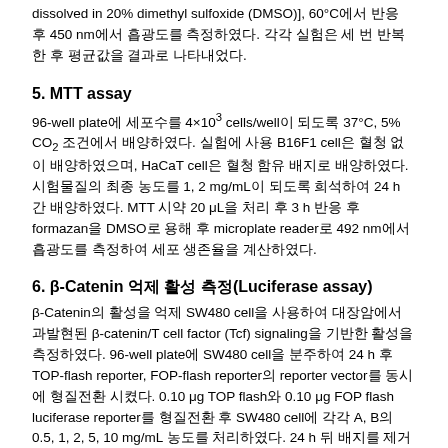dissolved in 20% dimethyl sulfoxide (DMSO)], 60°C에서 반응 후 450 nm에서 흡광도를 측정하였다. 각각 실험은 세 번 반복한 후 평균값을 결과로 나타내었다.
5. MTT assay
96-well plate에 세포수를 4×10³ cells/well이 되도록 37°C, 5% CO₂ 조건에서 배양하였다. 실험에 사용 B16F1 cell은 혈청 없이 배양하였으며, HaCaT cell은 혈청 함유 배지로 배양하였다. 시험물질의 최종 농도를 1, 2 mg/mL이 되도록 희석하여 24 h 간 배양하였다. MTT 시약 20 μL을 처리 후 3 h 반응 후 formazan을 DMSO로 용해 후 microplate reader로 492 nm에서 흡광도를 측정하여 세포 생존율을 계산하였다.
6. β-Catenin 억제 활성 측정(Luciferase assay)
β-Catenin의 활성을 억제 SW480 cell을 사용하여 대장암에서 과발현된 β-catenin β-catenin/T cell factor (Tcf) signaling을 기반한 활성을 측정하였다. 96-well plate에 SW480 cell을 분주하여 24 h 후 TOP-flash reporter, FOP-flash reporter의 reporter vector를 동시에 형질전환 시켰다. 0.10 μg TOP flash와 0.10 μg FOP flash luciferase reporter를 형질전환 후 SW480 cell에 각각 A, B의 0.5, 1, 2, 5, 10 mg/mL 농도를 처리하였다. 24 h 뒤 배지를 제거 후, luciferase assay system에서 제공하는 프로토콜에 따라 lysis buffer를 이용해 luciferase 활성을 측정하였다. 결과 값 TOP control에 대한 상대적 루시퍼라제 활성 값으로 계산하였다.